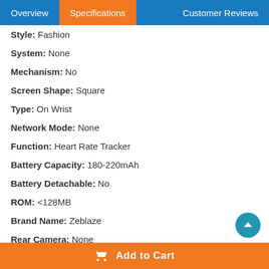Overview | Specifications | Customer Reviews
Style: Fashion
System: None
Mechanism: No
Screen Shape: Square
Type: On Wrist
Network Mode: None
Function: Heart Rate Tracker
Battery Capacity: 180-220mAh
Battery Detachable: No
ROM: <128MB
Brand Name: Zeblaze
Rear Camera: None
RAM: <128MB
SIM Card Available: No
Case Material: Plastic
Indication Age: (partially visible)
Add to Cart